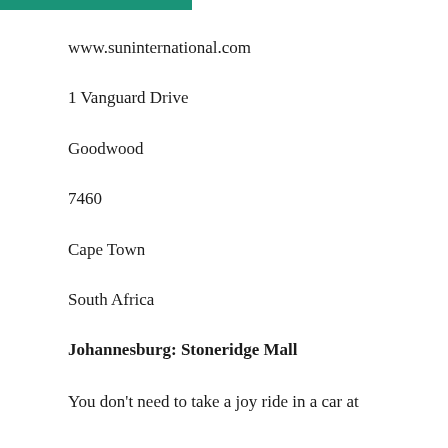www.suninternational.com
1 Vanguard Drive
Goodwood
7460
Cape Town
South Africa
Johannesburg: Stoneridge Mall
You don't need to take a joy ride in a car at